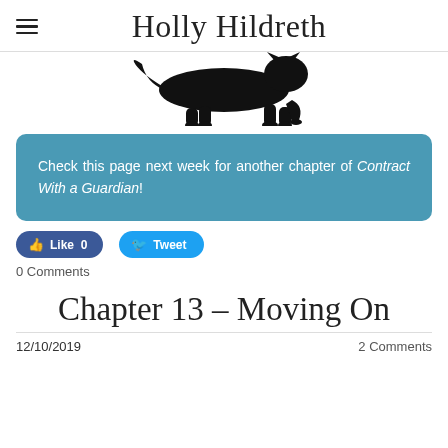Holly Hildreth
[Figure (illustration): Black silhouette of a panther/big cat walking, partially cropped at top]
Check this page next week for another chapter of Contract With a Guardian!
[Figure (screenshot): Facebook Like button showing 0 likes and Twitter Tweet button]
0 Comments
Chapter 13 – Moving On
12/10/2019
2 Comments